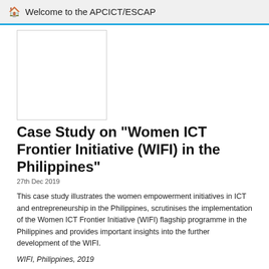Welcome to the APCICT/ESCAP
[Figure (photo): Thumbnail image placeholder (white rectangle with border) for the case study publication]
Case Study on "Women ICT Frontier Initiative (WIFI) in the Philippines"
27th Dec 2019
This case study illustrates the women empowerment initiatives in ICT and entrepreneurship in the Philippines, scrutinises the implementation of the Women ICT Frontier Initiative (WIFI) flagship programme in the Philippines and provides important insights into the further development of the WIFI.
WIFI, Philippines, 2019
Read More
[Figure (photo): Partial thumbnail of another case study document with purple/white design visible at bottom of page]